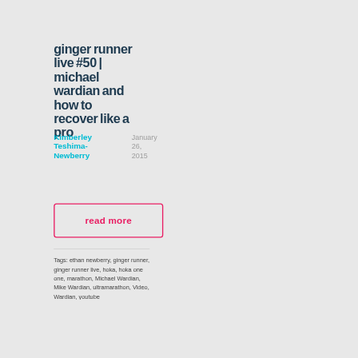ginger runner live #50 | michael wardian and how to recover like a pro
Kimberley Teshima-Newberry
January 26, 2015
read more
Tags: ethan newberry, ginger runner, ginger runner live, hoka, hoka one one, marathon, Michael Wardian, Mike Wardian, ultramarathon, Video, Wardian, youtube